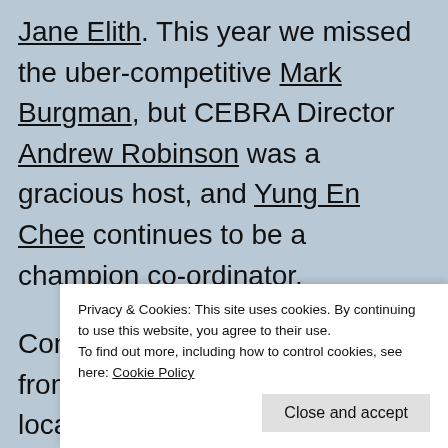Jane Elith. This year we missed the uber-competitive Mark Burgman, but CEBRA Director Andrew Robinson was a gracious host, and Yung En Chee continues to be a champion co-ordinator.
Competitors drew inspiration from their gardens and other local ingredients, from famous chefs and family members, from their cultures of origin and even from their … show through to find out.
Privacy & Cookies: This site uses cookies. By continuing to use this website, you agree to their use. To find out more, including how to control cookies, see here: Cookie Policy
Close and accept